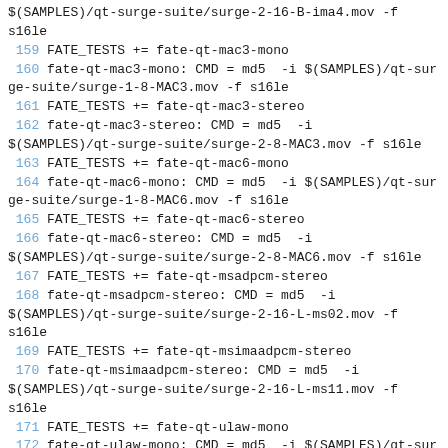$(SAMPLES)/qt-surge-suite/surge-2-16-B-ima4.mov -f s16le
 159 FATE_TESTS += fate-qt-mac3-mono
 160 fate-qt-mac3-mono: CMD = md5  -i $(SAMPLES)/qt-surge-suite/surge-1-8-MAC3.mov -f s16le
 161 FATE_TESTS += fate-qt-mac3-stereo
 162 fate-qt-mac3-stereo: CMD = md5  -i $(SAMPLES)/qt-surge-suite/surge-2-8-MAC3.mov -f s16le
 163 FATE_TESTS += fate-qt-mac6-mono
 164 fate-qt-mac6-mono: CMD = md5  -i $(SAMPLES)/qt-surge-suite/surge-1-8-MAC6.mov -f s16le
 165 FATE_TESTS += fate-qt-mac6-stereo
 166 fate-qt-mac6-stereo: CMD = md5  -i $(SAMPLES)/qt-surge-suite/surge-2-8-MAC6.mov -f s16le
 167 FATE_TESTS += fate-qt-msadpcm-stereo
 168 fate-qt-msadpcm-stereo: CMD = md5  -i $(SAMPLES)/qt-surge-suite/surge-2-16-L-ms02.mov -f s16le
 169 FATE_TESTS += fate-qt-msimaadpcm-stereo
 170 fate-qt-msimaadpcm-stereo: CMD = md5  -i $(SAMPLES)/qt-surge-suite/surge-2-16-L-ms11.mov -f s16le
 171 FATE_TESTS += fate-qt-ulaw-mono
 172 fate-qt-ulaw-mono: CMD = md5  -i $(SAMPLES)/qt-surge-suite/surge-1-8-Rogue.mov -f s16le